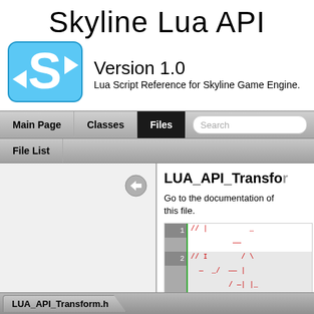Skyline Lua API
[Figure (logo): Skyline 'S' logo in blue with arrows]
Version 1.0
Lua Script Reference for Skyline Game Engine.
Main Page  Classes  Files  Search
File List
LUA_API_Transform
Go to the documentation of this file.
[Figure (screenshot): Code listing showing lines 1, 2, 3 with red commented code]
LUA_API_Transform.h